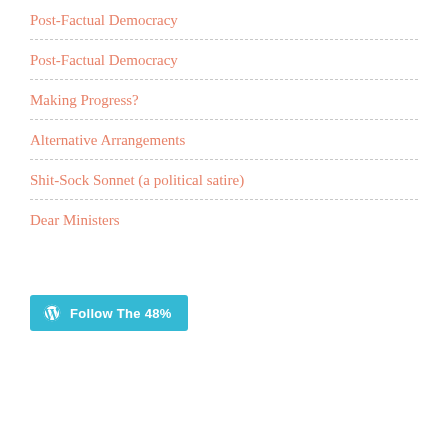Post-Factual Democracy
Post-Factual Democracy
Making Progress?
Alternative Arrangements
Shit-Sock Sonnet (a political satire)
Dear Ministers
[Figure (other): Follow The 48% button with WordPress logo icon in teal/blue color]